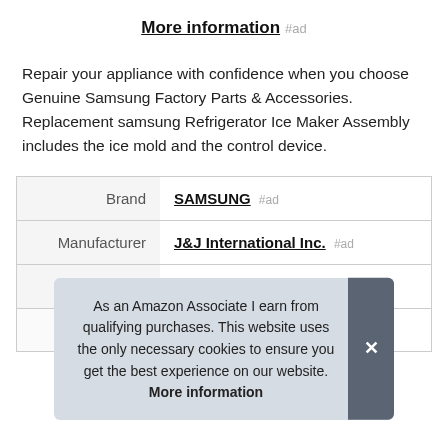More information #ad
Repair your appliance with confidence when you choose Genuine Samsung Factory Parts & Accessories. Replacement samsung Refrigerator Ice Maker Assembly includes the ice mold and the control device.
|  |  |
| --- | --- |
| Brand | SAMSUNG #ad |
| Manufacturer | J&J International Inc. #ad |
| Height | 5 Inches |
| Part Number | DA97-11092B |
As an Amazon Associate I earn from qualifying purchases. This website uses the only necessary cookies to ensure you get the best experience on our website. More information